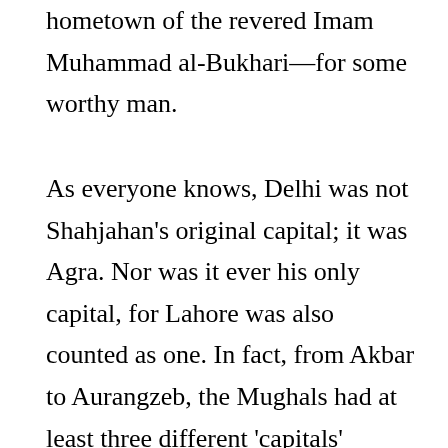hometown of the revered Imam Muhammad al-Bukhari—for some worthy man.
As everyone knows, Delhi was not Shahjahan's original capital; it was Agra. Nor was it ever his only capital, for Lahore was also counted as one. In fact, from Akbar to Aurangzeb, the Mughals had at least three different 'capitals' simultaneously. Both Lahore and Agra have major mosques, but neither has a 'Shahi Imam'. Even in Delhi,